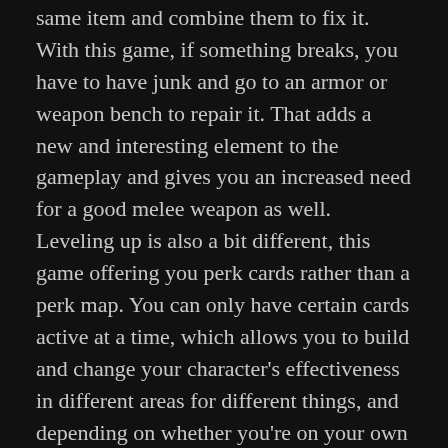same item and combine them to fix it. With this game, if something breaks, you have to have junk and go to an armor or weapon bench to repair it. That adds a new and interesting element to the gameplay and gives you an increased need for a good melee weapon as well. Leveling up is also a bit different, this game offering you perk cards rather than a perk map. You can only have certain cards active at a time, which allows you to build and change your character's effectiveness in different areas for different things, and depending on whether you're on your own or part of a team.
Overall, my first experience with Bethesda's version of West Virginia has been a positive one. It was very interesting for me to explore the digital version of areas I've frequented in my life. I was able to cross the damaged New River Gorge bridge, see areas I've driven